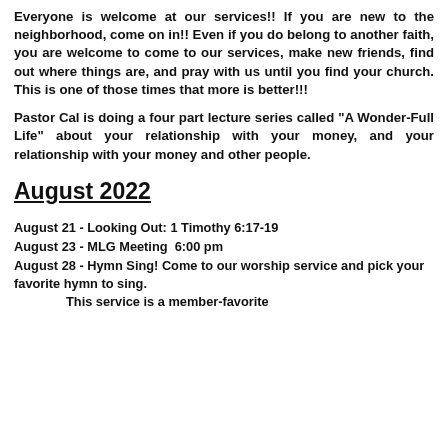Everyone is welcome at our services!! If you are new to the neighborhood, come on in!! Even if you do belong to another faith, you are welcome to come to our services, make new friends, find out where things are, and pray with us until you find your church. This is one of those times that more is better!!!
Pastor Cal is doing a four part lecture series called "A Wonder-Full Life" about your relationship with your money, and your relationship with your money and other people.
August 2022
August 21 - Looking Out: 1 Timothy 6:17-19
August 23 - MLG Meeting  6:00 pm
August 28 - Hymn Sing! Come to our worship service and pick your favorite hymn to sing.
This service is a member-favorite